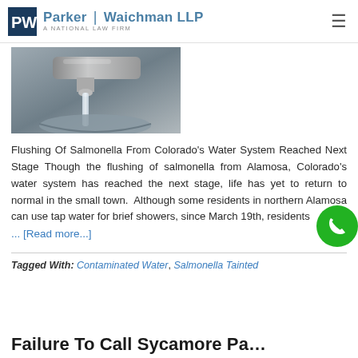Parker | Waichman LLP — A National Law Firm
[Figure (photo): Photo of water flowing from a faucet into a metal sink, representing water contamination story]
Flushing Of Salmonella From Colorado's Water System Reached Next Stage Though the flushing of salmonella from Alamosa, Colorado's water system has reached the next stage, life has yet to return to normal in the small town. Although some residents in northern Alamosa can use tap water for brief showers, since March 19th, residents ... [Read more...]
Tagged With: Contaminated Water, Salmonella Tainted
Failure To Call Sycamore Pa...